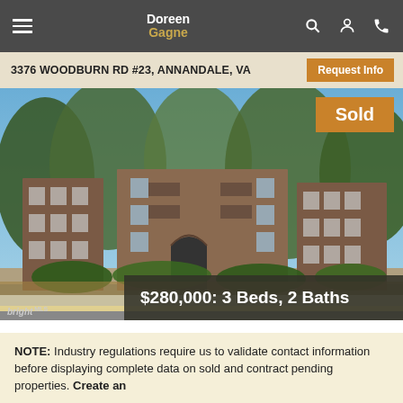Doreen Gagne
3376 WOODBURN RD #23, ANNANDALE, VA
[Figure (photo): Exterior photo of a multi-story brick apartment building at 3376 Woodburn Rd #23, Annandale, VA, surrounded by large trees with green and autumn foliage. A 'Sold' badge appears in the upper right of the photo. The price overlay reads '$280,000: 3 Beds, 2 Baths'. A 'bright MLS' watermark appears in the lower left.]
NOTE: Industry regulations require us to validate contact information before displaying complete data on sold and contract pending properties. Create an